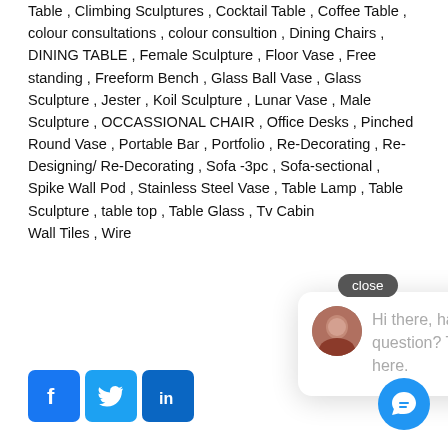Table , Climbing Sculptures , Cocktail Table , Coffee Table , colour consultations , colour consultion , Dining Chairs , DINING TABLE , Female Sculpture , Floor Vase , Free standing , Freeform Bench , Glass Ball Vase , Glass Sculpture , Jester , Koil Sculpture , Lunar Vase , Male Sculpture , OCCASSIONAL CHAIR , Office Desks , Pinched Round Vase , Portable Bar , Portfolio , Re-Decorating , Re-Designing/ Re-Decorating , Sofa -3pc , Sofa-sectional , Spike Wall Pod , Stainless Steel Vase , Table Lamp , Table Sculpture , table top , Table Glass , Tv Cabinet , Wall Tiles , Wire …
[Figure (other): Chat popup overlay with avatar photo and text: Hi there, have a question? Text us here. With a close button.]
[Figure (other): Social media share buttons: Facebook (f), Twitter (bird), LinkedIn (in)]
Original Article Source Credits:  MYMOVE , https://www.mymove.com/
Article Written By:   MIHAI